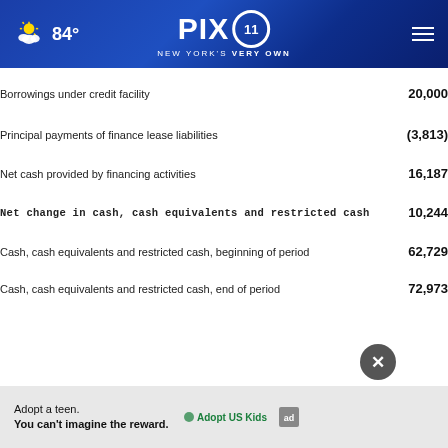PIX 11 NEW YORK'S VERY OWN — 84°
Borrowings under credit facility
Principal payments of finance lease liabilities
Net cash provided by financing activities
Net change in cash, cash equivalents and restricted cash
Cash, cash equivalents and restricted cash, beginning of period
Cash, cash equivalents and restricted cash, end of period
Adopt a teen. You can't imagine the reward. AdoptUSKids